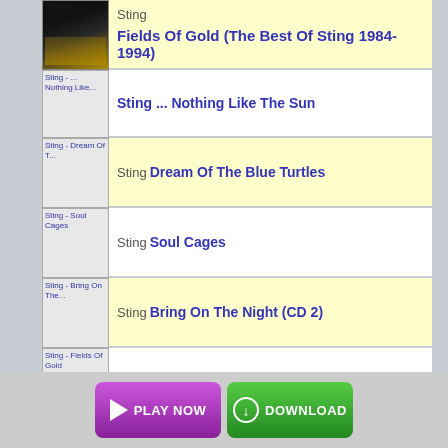[Figure (screenshot): Music album listing screenshot showing Sting albums with thumbnail images and play/download buttons]
Sting Fields Of Gold (The Best Of Sting 1984-1994)
Sting ... Nothing Like The Sun
Sting Dream Of The Blue Turtles
Sting Soul Cages
Sting Bring On The Night (CD 2)
Sting Fields Of Gold - The Best Of Sting